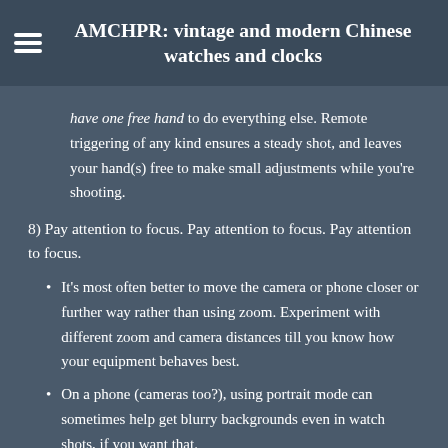AMCHPR: vintage and modern Chinese watches and clocks
have one free hand to do everything else. Remote triggering of any kind ensures a steady shot, and leaves your hand(s) free to make small adjustments while you're shooting.
8) Pay attention to focus. Pay attention to focus. Pay attention to focus.
It's most often better to move the camera or phone closer or further way rather than using zoom. Experiment with different zoom and camera distances till you know how your equipment behaves best.
On a phone (cameras too?), using portrait mode can sometimes help get blurry backgrounds even in watch shots, if you want that.